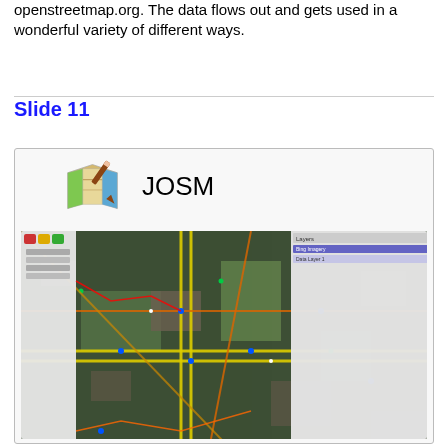openstreetmap.org. The data flows out and gets used in a wonderful variety of different ways.
Slide 11
[Figure (screenshot): JOSM (Java OpenStreetMap Editor) application screenshot showing a satellite imagery base map with overlaid OpenStreetMap vector data including roads, buildings and points of interest, with toolbars and panels on the sides.]